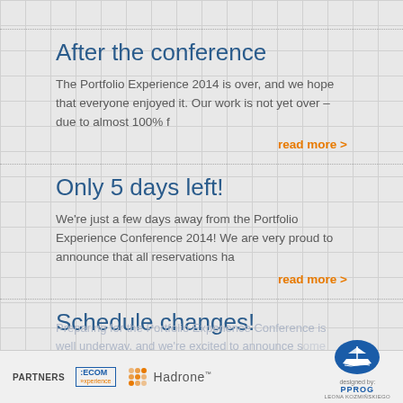After the conference
The Portfolio Experience 2014 is over, and we hope that everyone enjoyed it. Our work is not yet over – due to almost 100% f
read more >
Only 5 days left!
We're just a few days away from the Portfolio Experience Conference 2014! We are very proud to announce that all reservations ha
read more >
Schedule changes!
Preparing for the Portfolio Experience Conference is well underway, and we're excited to announce some changes to our schedule
PARTNERS  ECOM Experience  Hadrone  designed by: PPROG LEONA KOZMIŃSKIEGO